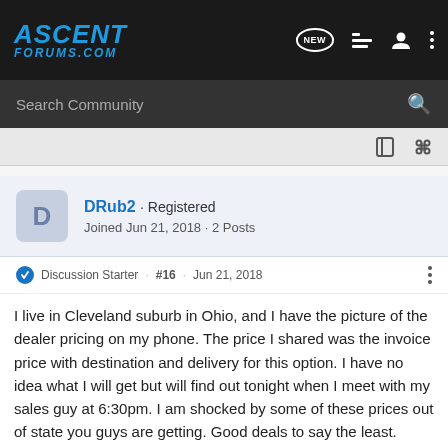ASCENT FORUMS.COM
Search Community
DRub2 · Registered
Joined Jun 21, 2018 · 2 Posts
Discussion Starter · #16 · Jun 21, 2018
I live in Cleveland suburb in Ohio, and I have the picture of the dealer pricing on my phone. The price I shared was the invoice price with destination and delivery for this option. I have no idea what I will get but will find out tonight when I meet with my sales guy at 6:30pm. I am shocked by some of these prices out of state you guys are getting. Good deals to say the least.
[Figure (infographic): Pedal Commander advertisement banner with logo, star icon, and text: YOU WILL SMILE 100% WITH PEDAL COMMANDER]